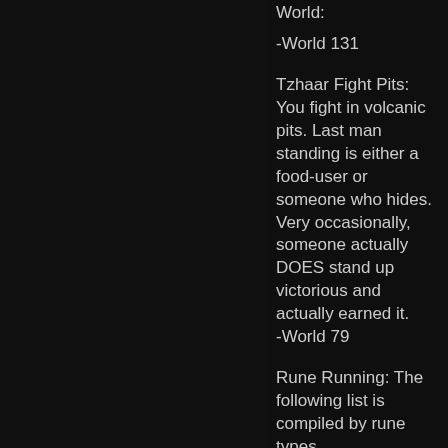World:
-World 131
Tzhaar Fight Pits: You fight in volcanic pits. Last man standing is either a food-user or someone who hides. Very occasionally, someone actually DOES stand up victorious and actually earned it.
-World 79
Rune Running: The following list is compiled by rune types.
AIR RUNES: running